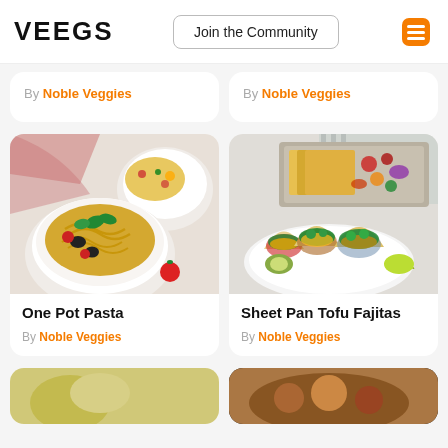VEEGS
By Noble Veggies
By Noble Veggies
[Figure (photo): Bowl of pasta salad with black olives, cherry tomatoes, basil, and yellow pasta in a white ribbed bowl, with a smaller bowl of similar pasta in the background, pink napkin, white background.]
One Pot Pasta
By Noble Veggies
[Figure (photo): Sheet pan tofu fajitas with colorful vegetables on a baking tray in the background, and three tacos filled with tofu, peppers, guacamole, corn, and avocado on a white plate with lime wedge.]
Sheet Pan Tofu Fajitas
By Noble Veggies
[Figure (photo): Partial view of a recipe card showing a yellow/green food item, cropped at the bottom of the page.]
[Figure (photo): Partial view of a recipe card showing a brown stew or curry dish, cropped at the bottom of the page.]